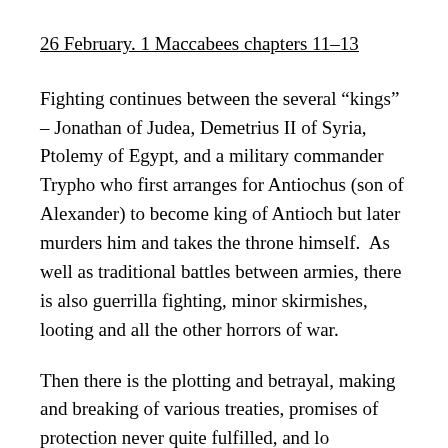26 February. 1 Maccabees  chapters 11-13
Fighting continues between the several “kings” – Jonathan of Judea, Demetrius II of Syria, Ptolemy of Egypt, and a military commander Trypho who first arranges for Antiochus (son of Alexander) to become king of Antioch but later murders him and takes the throne himself.  As well as traditional battles between armies, there is also guerrilla fighting, minor skirmishes, looting and all the other horrors of war.
Then there is the plotting and betrayal, making and breaking of various treaties, promises of protection never quite fulfilled, and long...